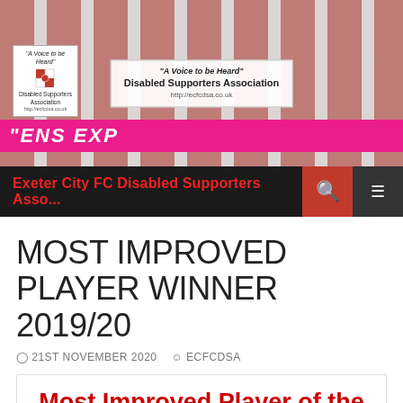[Figure (photo): Group photo of people holding a banner reading 'A Voice to be Heard Disabled Supporters Association http://ecfcdsa.co.uk' in front of Exeter City FC stadium with red and white striped backdrop]
Exeter City FC Disabled Supporters Asso...
MOST IMPROVED PLAYER WINNER 2019/20
21ST NOVEMBER 2020  ECFCDSA
Most Improved Player of the Year 2019/20